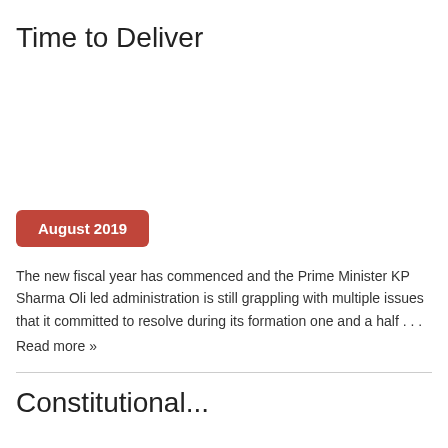Time to Deliver
August 2019
The new fiscal year has commenced and the Prime Minister KP Sharma Oli led administration is still grappling with multiple issues that it committed to resolve during its formation one and a half . . . Read more »
Constitutional...